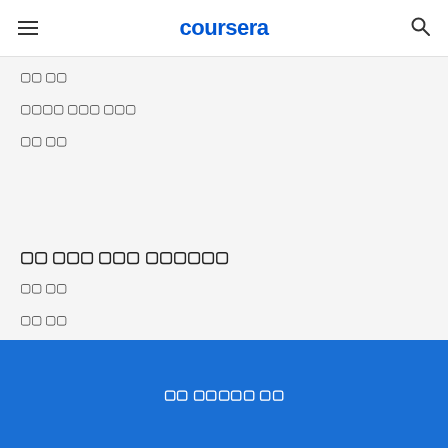coursera
[tofu] [tofu]
[tofu][tofu][tofu] [tofu][tofu] [tofu][tofu][tofu]
[tofu][tofu] [tofu][tofu]
[tofu][tofu] [tofu][tofu] [tofu][tofu] [tofu][tofu][tofu][tofu][tofu]
[tofu][tofu] [tofu][tofu]
[tofu][tofu] [tofu][tofu]
[tofu][tofu][tofu]
[tofu][tofu] [tofu][tofu][tofu][tofu][tofu] [tofu][tofu]